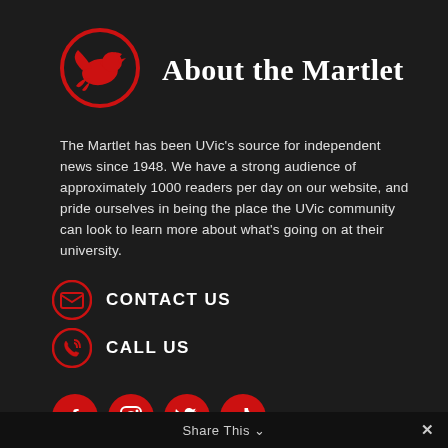[Figure (logo): Martlet logo: red bird silhouette inside a red circle on dark background]
About the Martlet
The Martlet has been UVic's source for independent news since 1948. We have a strong audience of approximately 1000 readers per day on our website, and pride ourselves in being the place the UVic community can look to learn more about what's going on at their university.
CONTACT US
CALL US
[Figure (infographic): Social media icons: Facebook, Instagram, Twitter, TikTok — red circular buttons]
Share This ∨